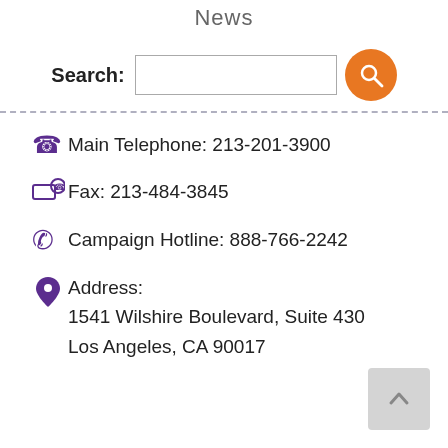News
Search:
Main Telephone: 213-201-3900
Fax: 213-484-3845
Campaign Hotline: 888-766-2242
Address:
1541 Wilshire Boulevard, Suite 430
Los Angeles, CA 90017